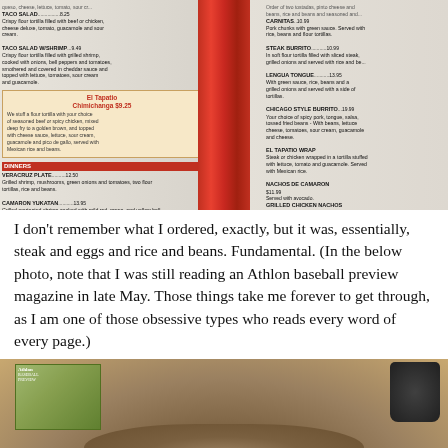[Figure (photo): Photo of an El Tapatio Mexican restaurant menu showing multiple columns of food items including Taco Salad, Chimichanga feature, Dinners section with Veracruz Plate, Camaron Yukatan, Arroz Con Marisco, and right column with items like Carnitas, Steak Burrito, El Tapatio Chef's Special, Burrito Croqueta, Lengua Tongue, Chicago Style Burrito, Pollo Fungido, Pollo Jalisco, and others. A red ribbon/stripe divides the menu in the center.]
I don't remember what I ordered, exactly, but it was, essentially, steak and eggs and rice and beans. Fundamental. (In the below photo, note that I was still reading an Athlon baseball preview magazine in late May. Those things take me forever to get through, as I am one of those obsessive types who reads every word of every page.)
[Figure (photo): Photo of a plate of food at El Tapatio restaurant — a round white plate with brown rim containing what appears to be steak, eggs, rice and beans. A magazine (Athlon baseball preview) is visible in the background on the left, and a dark cup/basket is visible on the right. The table surface appears to be wood.]